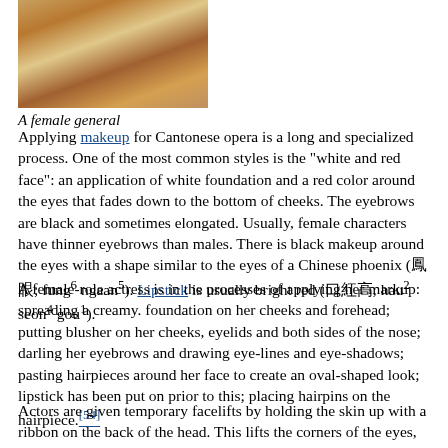[Figure (photo): A female general in Cantonese opera costume with elaborate headdress and gold jewelry]
A female general
Applying makeup for Cantonese opera is a long and specialized process. One of the most common styles is the "white and red face": an application of white foundation and a red color around the eyes that fades down to the bottom of cheeks. The eyebrows are black and sometimes elongated. Usually, female characters have thinner eyebrows than males. There is black makeup around the eyes with a shape similar to the eyes of a Chinese phoenix (鳳眼; fung6 ngaan5). Lipstick is usually bright red (口紅高; hau2 seon4 gou1).
A female-role actress is in the processes of applying her markup: spreading a creamy. foundation on her cheeks and forehead; putting blusher on her cheeks, eyelids and both sides of the nose; darling her eyebrows and drawing eye-lines and eye-shadows; pasting hairpieces around her face to create an oval-shaped look; lipstick has been put on prior to this; placing hairpins on the hairpiece.[54]
Actors are given temporary facelifts by holding the skin up with a ribbon on the back of the head. This lifts the corners of the eyes, producing an authoritative look.